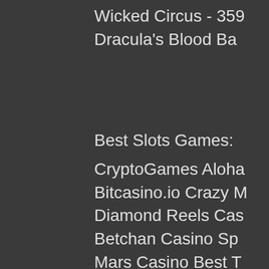Wicked Circus - 359
Dracula's Blood Ba
Best Slots Games:
CryptoGames Aloha
Bitcasino.io Crazy M
Diamond Reels Cas
Betchan Casino Sp
Mars Casino Best T
Vegas Crest Casino
FortuneJack Casino
Playamo Casino Ju
1xBit Casino Bermu
King Billy Casino Bi
mBit Casino Satosh
Mars Casino Stunni
BitStarz Casino Mo
mBTC free bet Mun
22Bet Casino Batm